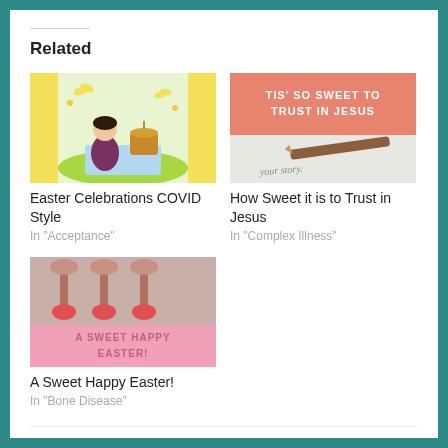Related
[Figure (illustration): Cartoon illustration of a girl at a picnic with yellow decorative panels on sides]
Easter Celebrations COVID Style
In "Acceptance"
[Figure (illustration): Pink card with text 'Tis' So Sweet to Trust in Jesus' and a pen writing 'your story']
How Sweet it is to Trust in Jesus
In "Complex Illness"
[Figure (illustration): Photo of decorated strawberry sweets/shoes with pink 'A Sweet Happy Easter' text overlay]
A Sweet Happy Easter!
In "Bone Disease"
POSTED IN CHRONIC DISEASE, COVID-19, EASTER, FAITH